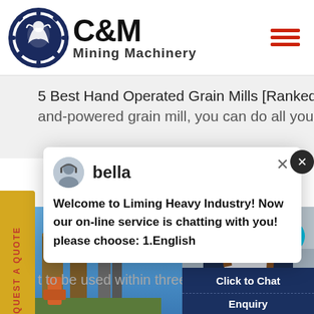[Figure (logo): C&M Mining Machinery logo with eagle gear icon and text]
5 Best Hand Operated Grain Mills [Ranked] Using a hand-powered grain mill, you can do all your
bella - Welcome to Liming Heavy Industry! Now our on-line service is chatting with you! please choose: 1.English
t to be used within three days o
[Figure (photo): Industrial machinery/grain mill equipment against blue sky]
[Figure (photo): Customer service representative wearing headset, with Click to Chat and Enquiry buttons]
REQUEST A QUOTE